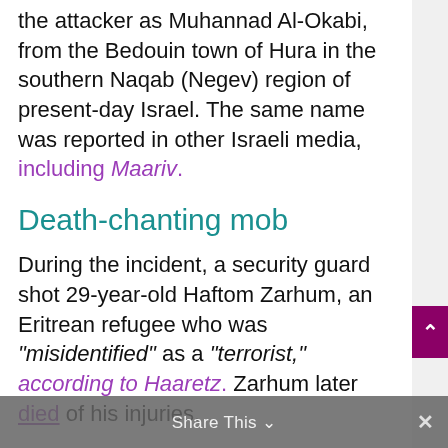the attacker as Muhannad Al-Okabi, from the Bedouin town of Hura in the southern Naqab (Negev) region of present-day Israel. The same name was reported in other Israeli media, including Maariv.
Death-chanting mob
During the incident, a security guard shot 29-year-old Haftom Zarhum, an Eritrean refugee who was "misidentified" as a "terrorist," according to Haaretz. Zarhum later died of his injuries.
Share This